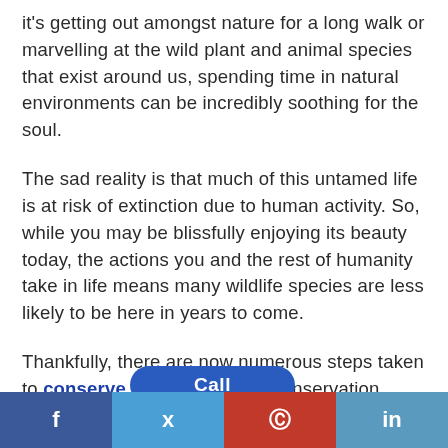it's getting out amongst nature for a long walk or marvelling at the wild plant and animal species that exist around us, spending time in natural environments can be incredibly soothing for the soul.
The sad reality is that much of this untamed life is at risk of extinction due to human activity. So, while you may be blissfully enjoying its beauty today, the actions you and the rest of humanity take in life means many wildlife species are less likely to be here in years to come.
Thankfully, there are now numerous steps taken to conserve wildlife. Wildlife conservation trusts have been set up to take action against harmful human activity, and awareness days like Wildlife
[Figure (other): Social sharing bar at bottom with Facebook, Twitter, Pinterest, and LinkedIn buttons, and a Call button overlay]